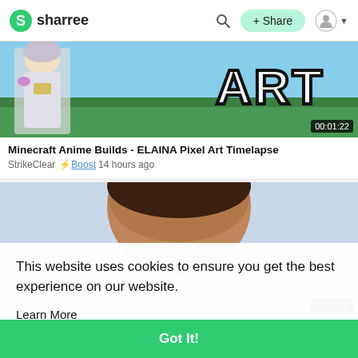sharree
[Figure (screenshot): Minecraft Anime Builds - ELAINA Pixel Art Timelapse video thumbnail showing an anime character and large 'ART' text on a grassy Minecraft background. Duration shown: 00:01:22]
Minecraft Anime Builds - ELAINA Pixel Art Timelapse
StrikeClear ⚡Boost 14 hours ago
[Figure (screenshot): Partial video thumbnail showing a person's face/head from above and a light blue background on left side. Duration shown: 00:03:46]
This website uses cookies to ensure you get the best experience on our website.
Learn More
Got It!